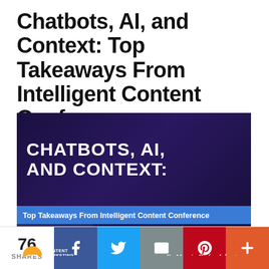Chatbots, AI, and Context: Top Takeaways From Intelligent Content Conference
[Figure (photo): Article header image with bold white text 'CHATBOTS, AI, AND CONTEXT:' on dark background, blue subtitle bar reading 'Top Takeaways From Intelligent Content Conference', conference scene photos at bottom, Content Marketing Institute logo, and byline 'By Marcia Riefer Johnston']
76 SHARES
Facebook share button
Twitter share button
Email share button
Pinterest share button
More share button